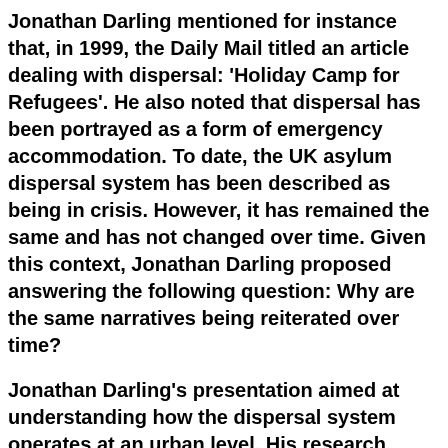Jonathan Darling mentioned for instance that, in 1999, the Daily Mail titled an article dealing with dispersal: 'Holiday Camp for Refugees'. He also noted that dispersal has been portrayed as a form of emergency accommodation. To date, the UK asylum dispersal system has been described as being in crisis. However, it has remained the same and has not changed over time. Given this context, Jonathan Darling proposed answering the following question: Why are the same narratives being reiterated over time?
Jonathan Darling's presentation aimed at understanding how the dispersal system operates at an urban level. His research involved four case studies: Birmingham, Cardiff, Glasgow, and Sunderland. His argument was